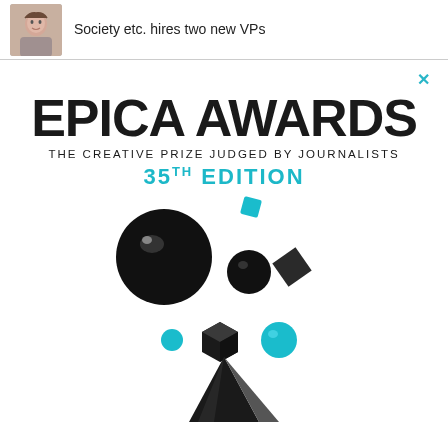[Figure (photo): Person avatar/headshot photo thumbnail on the left]
Society etc. hires two new VPs
[Figure (illustration): Epica Awards advertisement banner featuring the text 'EPICA AWARDS THE CREATIVE PRIZE JUDGED BY JOURNALISTS 35TH EDITION' with floating black and teal geometric shapes (spheres, cubes, diamonds) above a black pyramid trophy on white background. A teal X close button appears in the top right.]